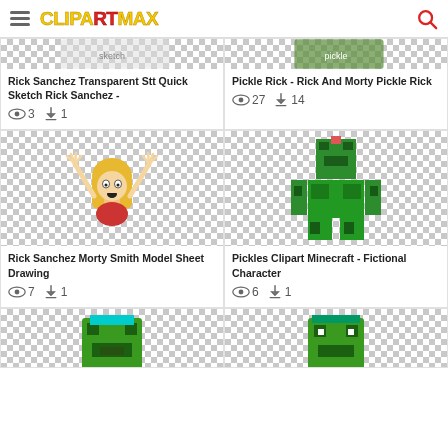ClipArtMax
[Figure (illustration): Rick Sanchez transparent sketch clipart on checkered background (partially cropped at top)]
Rick Sanchez Transparent Stt Quick Sketch Rick Sanchez -
👁 3  ⬇ 1
[Figure (illustration): Pickle Rick - Rick And Morty Pickle Rick clipart on checkered background (partially cropped at top)]
Pickle Rick - Rick And Morty Pickle Rick
👁 27  ⬇ 14
[Figure (illustration): Rick Sanchez Morty Smith Model Sheet Drawing - animated character with arms raised on checkered background]
Rick Sanchez Morty Smith Model Sheet Drawing
👁 7  ⬇ 1
[Figure (illustration): Pickles Clipart Minecraft - Fictional Character - green Minecraft character on checkered background]
Pickles Clipart Minecraft - Fictional Character
👁 6  ⬇ 1
[Figure (illustration): Pixel art green character clipart (partially cropped at bottom)]
[Figure (illustration): Pixel art green character face clipart (partially cropped at bottom)]